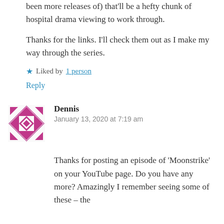been more releases of) that'll be a hefty chunk of hospital drama viewing to work through.
Thanks for the links. I'll check them out as I make my way through the series.
★ Liked by 1 person
Reply
[Figure (illustration): Pink/magenta geometric diamond quilt pattern avatar for user Dennis]
Dennis
January 13, 2020 at 7:19 am
Thanks for posting an episode of 'Moonstrike' on your YouTube page. Do you have any more? Amazingly I remember seeing some of these – the